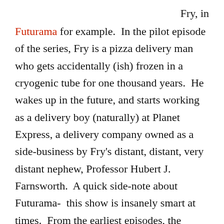Fry, in
Futurama for example.  In the pilot episode of the series, Fry is a pizza delivery man who gets accidentally (ish) frozen in a cryogenic tube for one thousand years.  He wakes up in the future, and starts working as a delivery boy (naturally) at Planet Express, a delivery company owned as a side-business by Fry's distant, distant, very distant nephew, Professor Hubert J. Farnsworth.  A quick side-note about Futurama-  this show is insanely smart at times.  From the earliest episodes, the creators plotted out certain things that get threaded throughout the series.  For example, in the future world of Futurama, owls have become vermin and pests, not unlike city rats of the present day.  Don't believe me?  Watch the